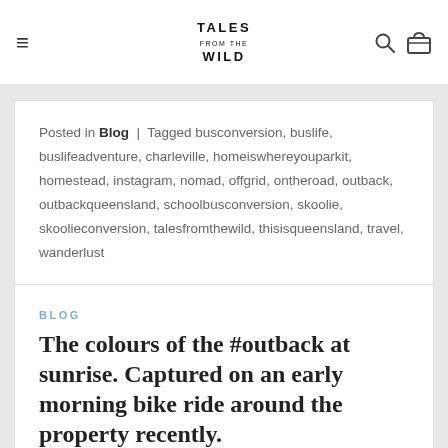Tales from the Wild — navigation bar with hamburger menu, logo, search and cart icons
Posted in Blog | Tagged busconversion, buslife, buslifeadventure, charleville, homeiswhereyouparkit, homestead, instagram, nomad, offgrid, ontheroad, outback, outbackqueensland, schoolbusconversion, skoolie, skoolieconversion, talesfromthewild, thisisqueensland, travel, wanderlust
BLOG
The colours of the #outback at sunrise. Captured on an early morning bike ride around the property recently.
POSTED ON MAY 30, 2020 BY TALES FROM THE WILD